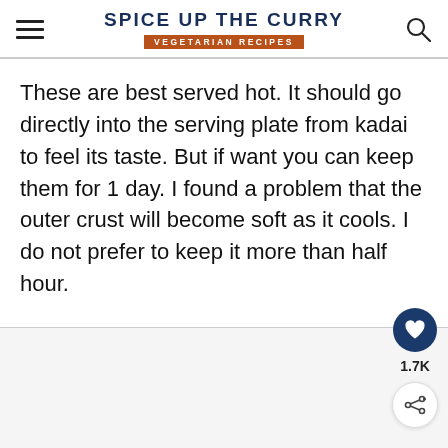Spice Up The Curry — Vegetarian Recipes
These are best served hot. It should go directly into the serving plate from kadai to feel its taste. But if want you can keep them for 1 day. I found a problem that the outer crust will become soft as it cools. I do not prefer to keep it more than half hour.